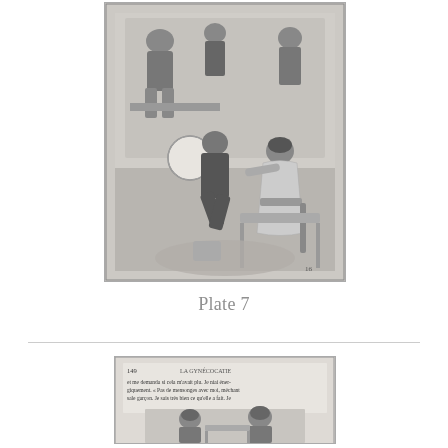[Figure (illustration): Black and white illustration (Plate 7) showing a Victorian-era medical or domestic scene with multiple figures around a bed or table; a man kneeling, a woman seated, and observers in the background.]
Plate 7
[Figure (screenshot): Scanned book page showing page 149 of 'La Gynécocatie' with French text and an illustration of two figures at bottom.]